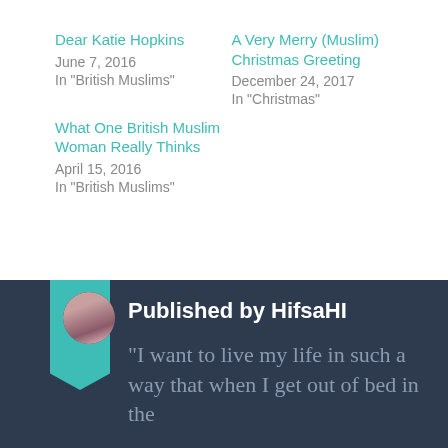Dear Katie Hopkins
June 7, 2016
In "British Muslims"
A Very Merry (Muslim) Christmas Greeting
December 24, 2017
In "Christmas"
What One British Muslim Woman Really Thinks
April 15, 2016
In "British Muslims"
Published by HifsaHI
"I want to live my life in such a way that when I get out of bed in the